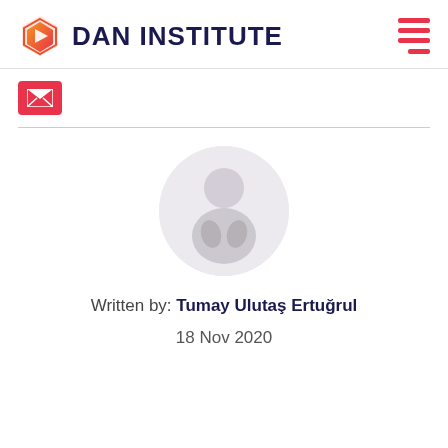DAN INSTITUTE
[Figure (logo): DAN INSTITUTE logo with orange/red hexagon icon on the left and hamburger menu icon on the right]
[Figure (photo): Red envelope/mail icon in a small box]
[Figure (photo): Circular author photo of a woman smiling with arms crossed, faded/light style]
Written by: Tumay Ulutaş Ertuğrul
18 Nov 2020